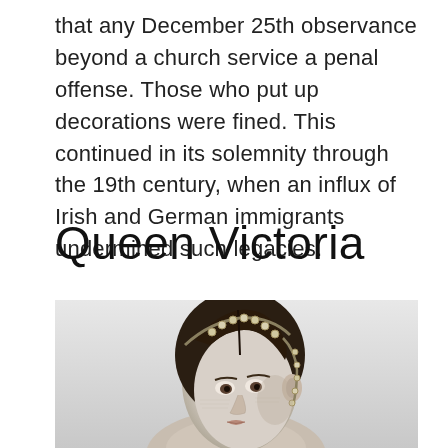that any December 25th observance beyond a church service a penal offense. Those who put up decorations were fined. This continued in its solemnity through the 19th century, when an influx of Irish and German immigrants undermined such legacies.
Queen Victoria
[Figure (illustration): A black and white engraving portrait of Queen Victoria, showing her from the shoulders up. She has dark hair parted in the middle and worn in a bun, with an ornate jeweled tiara/headpiece. Her face is shown in a three-quarter view.]